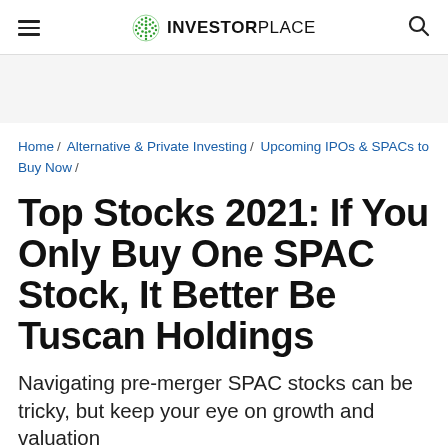INVESTORPLACE
Home / Alternative & Private Investing / Upcoming IPOs & SPACs to Buy Now /
Top Stocks 2021: If You Only Buy One SPAC Stock, It Better Be Tuscan Holdings
Navigating pre-merger SPAC stocks can be tricky, but keep your eye on growth and valuation